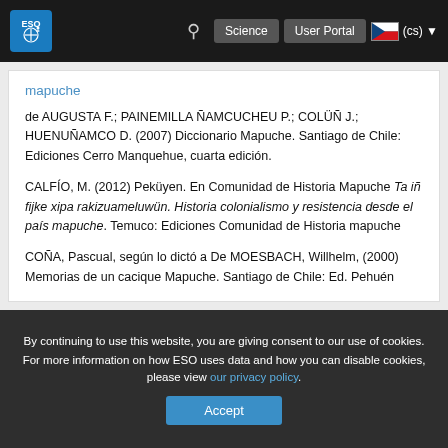ESO Science User Portal (cs)
mapuche
de AUGUSTA F.; PAINEMILLA ÑAMCUCHEU P.; COLÜÑ J.; HUENUÑAMCO D. (2007) Diccionario Mapuche. Santiago de Chile: Ediciones Cerro Manquehue, cuarta edición.
CALFÍO, M. (2012) Peküyen. En Comunidad de Historia Mapuche Ta iñ fijke xipa rakizuameluwün. Historia colonialismo y resistencia desde el país mapuche. Temuco: Ediciones Comunidad de Historia mapuche
COÑA, Pascual, según lo dictó a De MOESBACH, Willhelm, (2000) Memorias de un cacique Mapuche. Santiago de Chile: Ed. Pehuén
By continuing to use this website, you are giving consent to our use of cookies.
For more information on how ESO uses data and how you can disable cookies, please view our privacy policy.
Accept